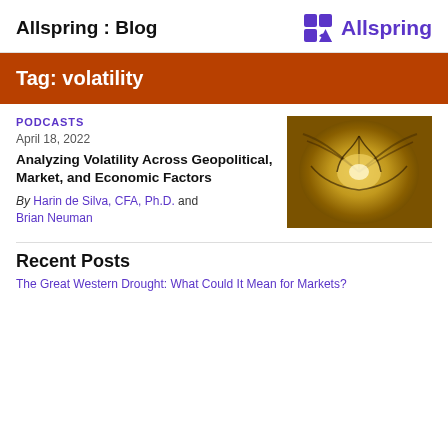Allspring : Blog
[Figure (logo): Allspring logo with purple geometric icon and purple text]
Tag: volatility
PODCASTS
April 18, 2022
Analyzing Volatility Across Geopolitical, Market, and Economic Factors
By Harin de Silva, CFA, Ph.D. and Brian Neuman
[Figure (photo): Spiral staircase photographed from above with golden/amber tones]
Recent Posts
The Great Western Drought: What Could It Mean for Markets?